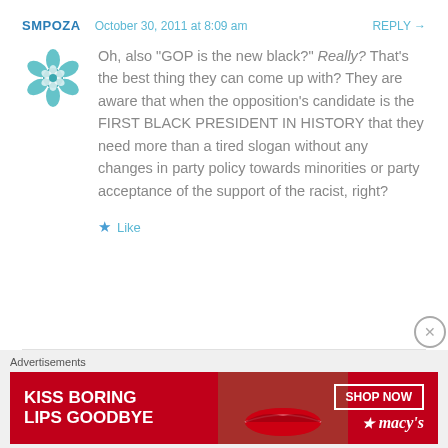SMPOZA  October 30, 2011 at 8:09 am  REPLY →
Oh, also "GOP is the new black?" Really? That's the best thing they can come up with? They are aware that when the opposition's candidate is the FIRST BLACK PRESIDENT IN HISTORY that they need more than a tired slogan without any changes in party policy towards minorities or party acceptance of the support of the racist, right?
★ Like
Advertisements
[Figure (illustration): Red Macy's advertisement banner with text KISS BORING LIPS GOODBYE and SHOP NOW button with Macy's star logo]